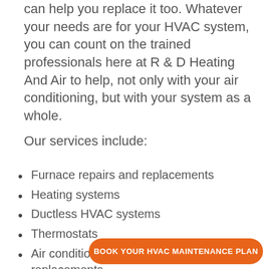can help you replace it too. Whatever your needs are for your HVAC system, you can count on the trained professionals here at R & D Heating And Air to help, not only with your air conditioning, but with your system as a whole.
Our services include:
Furnace repairs and replacements
Heating systems
Ductless HVAC systems
Thermostats
Air conditioning repairs and replacements
Basic heating and cooling tune-ups
Glass fireplace repai…
Refrigeration
BOOK YOUR HVAC MAINTENANCE PLAN